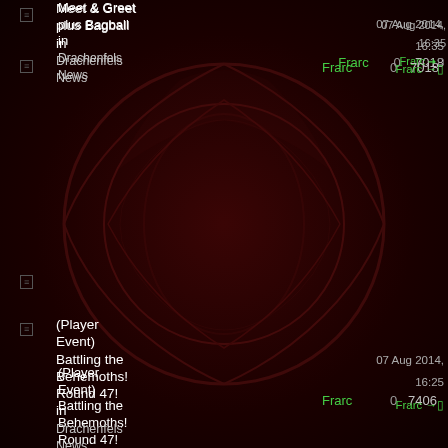Meet & Greet plus Bagball in Drachenfels News
Frarc | 0 | 7018 | 07 Aug 2014, 16:35 | Frarc
(Player Event) Battling the Behemoths! Round 47! in Drachenfels News
Frarc | 0 | 7406 | 07 Aug 2014, 16:25 | Frarc
(Player Event) The Gauntlet Returns! 2/8/2014 in Drachenfels
Frarc | 0 | 7000 | 01 Aug 2014, 13:50 | Frarc